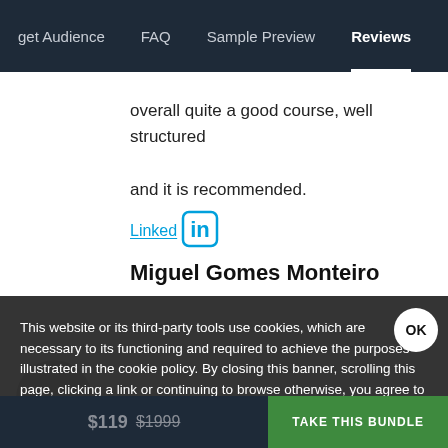get Audience   FAQ   Sample Preview   Reviews
overall quite a good course, well structured and it is recommended.
Linked in
Miguel Gomes Monteiro
This website or its third-party tools use cookies, which are necessary to its functioning and required to achieve the purposes illustrated in the cookie policy. By closing this banner, scrolling this page, clicking a link or continuing to browse otherwise, you agree to our Privacy Policy
$119 $1999   TAKE THIS BUNDLE